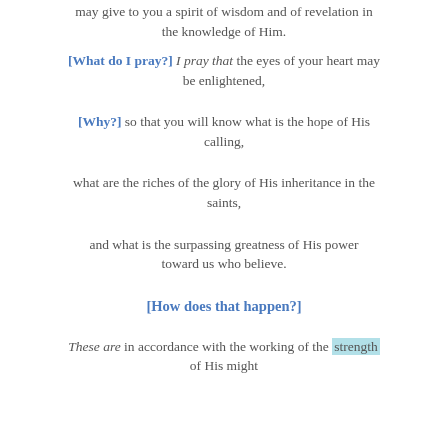may give to you a spirit of wisdom and of revelation in the knowledge of Him.
[What do I pray?] I pray that the eyes of your heart may be enlightened,
[Why?] so that you will know what is the hope of His calling,
what are the riches of the glory of His inheritance in the saints,
and what is the surpassing greatness of His power toward us who believe.
[How does that happen?]
These are in accordance with the working of the strength of His might